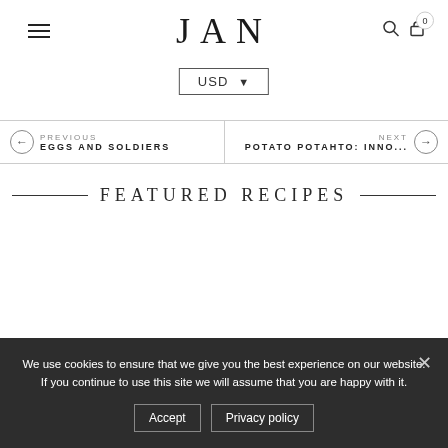JAN
USD ▾
PREVIOUS
EGGS AND SOLDIERS
NEXT
POTATO POTAHTO: INNO...
FEATURED RECIPES
We use cookies to ensure that we give you the best experience on our website. If you continue to use this site we will assume that you are happy with it.
Accept   Privacy policy